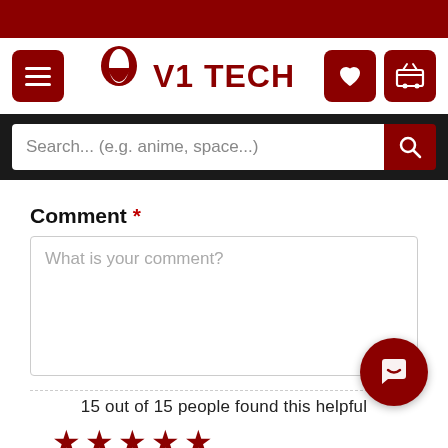[Figure (screenshot): Dark red top banner bar]
[Figure (logo): V1 Tech logo with hamburger menu, heart icon, and shopping cart icon in header]
[Figure (screenshot): Search bar with placeholder text 'Search... (e.g. anime, space...)' and red search button]
Comment *
What is your comment?
15 out of 15 people found this helpful
[Figure (illustration): Five red star rating icons in a row]